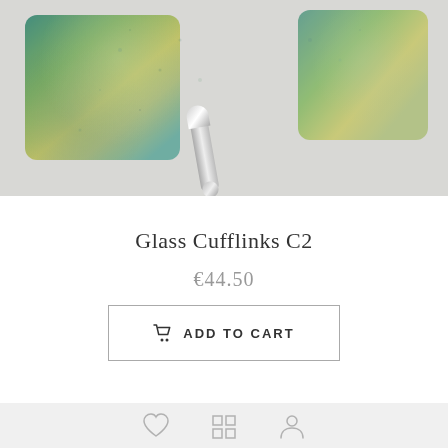[Figure (photo): Close-up photo of two glass cufflinks with teal, yellow-green, and blue-green swirled/speckled pattern, with silver metal mechanism visible between them, on a light gray/white background.]
Glass Cufflinks C2
€44.50
ADD TO CART